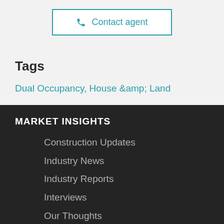Contact agent
Tags
Dual Occupancy, House &amp; Land
MARKET INSIGHTS
Construction Updates
Industry News
Industry Reports
Interviews
Our Thoughts